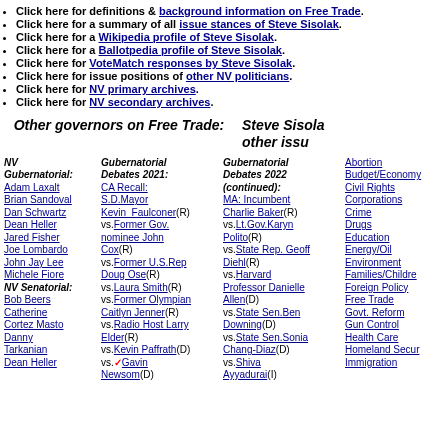Click here for definitions & background information on Free Trade.
Click here for a summary of all issue stances of Steve Sisolak.
Click here for a Wikipedia profile of Steve Sisolak.
Click here for a Ballotpedia profile of Steve Sisolak.
Click here for VoteMatch responses by Steve Sisolak.
Click here for issue positions of other NV politicians.
Click here for NV primary archives.
Click here for NV secondary archives.
Other governors on Free Trade:
Steve Sisolak on other issues:
NV Gubernatorial: Adam Laxalt, Brian Sandoval, Dan Schwartz, Dean Heller, Jared Fisher, Joe Lombardo, John Jay Lee, Michele Fiore. NV Senatorial: Bob Beers, Catherine Cortez Masto, Danny Tarkanian, Dean Heller
Gubernatorial Debates 2021: CA Recall: S.D.Mayor Kevin_Faulconer(R) vs.Former Gov. nominee John Cox(R) vs.Former U.S.Rep Doug Ose(R) vs.Laura Smith(R) vs.Former Olympian Caitlyn Jenner(R) vs.Radio Host Larry Elder(R) vs.Kevin Paffrath(D) vs.Gavin Newsom(D)
Gubernatorial Debates 2022 (continued): MA: Incumbent Charlie Baker(R) vs.Lt.Gov.Karyn Polito(R) vs.State Rep. Geoff Diehl(R) vs.Harvard Professor Danielle Allen(D) vs.State Sen.Ben Downing(D) vs.State Sen.Sonia Chang-Diaz(D) vs.Shiva Ayyadurai(I)
Abortion, Budget/Economy, Civil Rights, Corporations, Crime, Drugs, Education, Energy/Oil, Environment, Families/Children, Foreign Policy, Free Trade, Govt. Reform, Gun Control, Health Care, Homeland Security, Immigration